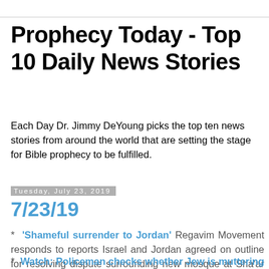Prophecy Today - Top 10 Daily News Stories
Each Day Dr. Jimmy DeYoung picks the top ten news stories from around the world that are setting the stage for Bible prophecy to be fulfilled.
Tuesday, July 23, 2019
7/23/19
* 'Shameful surrender to Jordan' Regavim Movement responds to reports Israel and Jordan agreed on outline for resolving dispute surrounding new mosque at Sha'ar HaRachamim.
* Watch: Policeman checks whether Jew is muttering prayers Police officer on Temple Mount